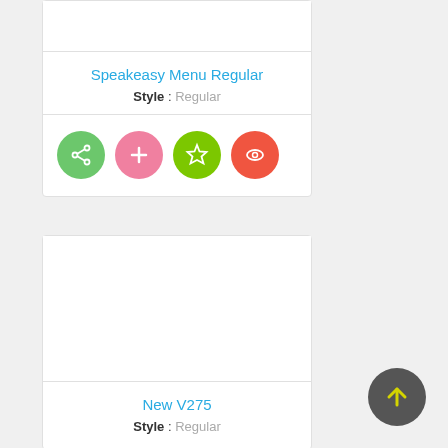Speakeasy Menu Regular
Style : Regular
[Figure (infographic): Four circular action buttons: green share icon, pink plus icon, green star icon, red-orange eye icon]
New V275
Style : Regular
[Figure (infographic): Dark gray circular scroll-to-top button with yellow upward arrow]